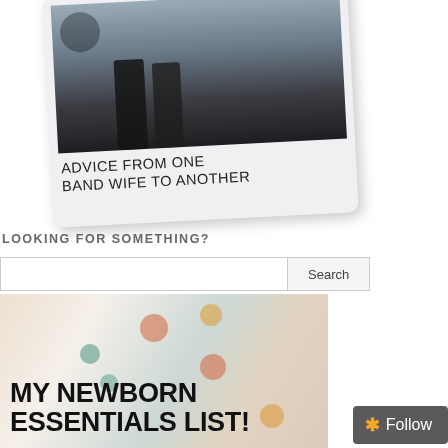[Figure (photo): Polaroid-style photo card showing two people standing in front of a car, with text 'ADVICE FROM ONE BAND WIFE TO ANOTHER' at the bottom of the card]
LOOKING FOR SOMETHING?
[Figure (screenshot): Search bar with text input field and Search button]
[Figure (photo): Photo of newborn baby items including colorful patterned fabric/swaddle blanket with text overlay 'MY NEWBORN ESSENTIALS LIST!']
[Figure (other): Follow button with star icon in dark grey, bottom right corner]